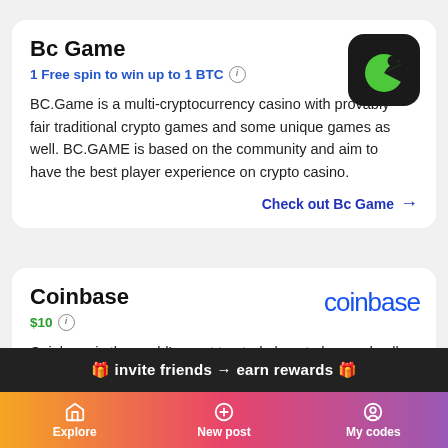Bc Game
1 Free spin to win up to 1 BTC
BC.Game is a multi-cryptocurrency casino with provably fair traditional crypto games and some unique games as well. BC.GAME is based on the community and aim to have the best player experience on crypto casino.
Check out Bc Game →
[Figure (logo): BC Game logo: green pac-man style face on black rounded square background]
Coinbase
$10
Coinbase is the world's most trusted place to buy and sell cryptocurrency. Coinbase is a secure online platform for buying, selling, transferring, and storing digital
[Figure (logo): Coinbase logo in blue text]
🎁 invite friends → earn rewards 🎁
Explore   New post   My codes